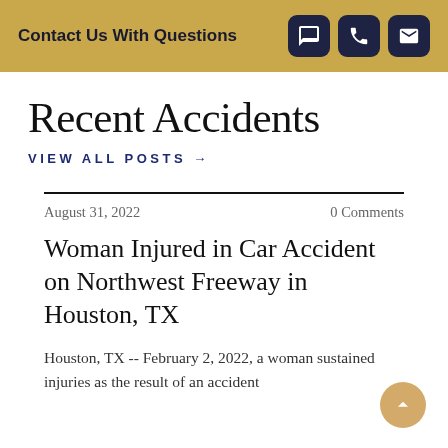Contact Us With Questions
Recent Accidents
VIEW ALL POSTS →
August 31, 2022 | 0 Comments
Woman Injured in Car Accident on Northwest Freeway in Houston, TX
Houston, TX -- February 2, 2022, a woman sustained injuries as the result of an accident